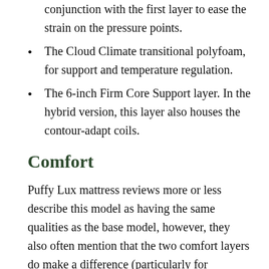conjunction with the first layer to ease the strain on the pressure points.
The Cloud Climate transitional polyfoam, for support and temperature regulation.
The 6-inch Firm Core Support layer. In the hybrid version, this layer also houses the contour-adapt coils.
Comfort
Puffy Lux mattress reviews more or less describe this model as having the same qualities as the base model, however, they also often mention that the two comfort layers do make a difference (particularly for lightweight individuals).
For starters, they make the overall construction slightly less firm and provide better support and